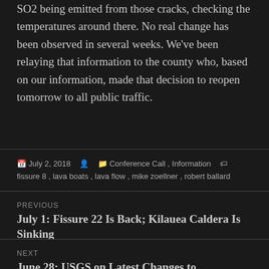SO2 being emitted from those cracks, checking the temperatures around there. No real change has been observed in several weeks. We've been relaying that information to the county who, based on our information, made that decision to reopen tomorrow to all public traffic.
Posted on July 2, 2018 | Categories: Conference Call, Information | Tags: fissure 8, lava boats, lava flow, mike zoellner, robert ballard
PREVIOUS
July 1: Fissure 22 Is Back; Kilauea Caldera Is Sinking
NEXT
June 28: USGS on Latest Changes to